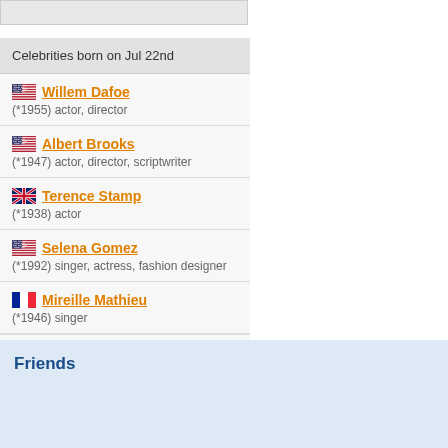Celebrities born on Jul 22nd
Willem Dafoe (*1955) actor, director
Albert Brooks (*1947) actor, director, scriptwriter
Terence Stamp (*1938) actor
Selena Gomez (*1992) singer, actress, fashion designer
Mireille Mathieu (*1946) singer
other celebrities »
Friends